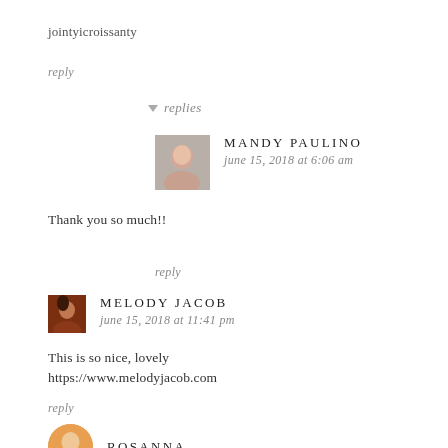jointyicroissanty
reply
▼ replies
MANDY PAULINO
june 15, 2018 at 6:06 am
Thank you so much!!
reply
MELODY JACOB
june 15, 2018 at 11:41 pm
This is so nice, lovely
https://www.melodyjacob.com
reply
ROSANNA